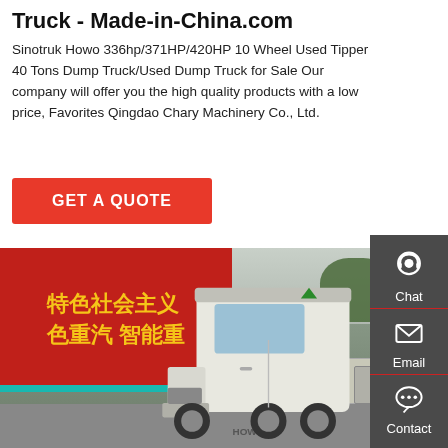Truck - Made-in-China.com
Sinotruk Howo 336hp/371HP/420HP 10 Wheel Used Tipper 40 Tons Dump Truck/Used Dump Truck for Sale Our company will offer you the high quality products with a low price, Favorites Qingdao Chary Machinery Co., Ltd.
[Figure (other): Red GET A QUOTE button]
[Figure (photo): Photo of a white HOWO Sinotruk heavy truck parked in a lot with a red Chinese banner in the background showing yellow Chinese characters]
[Figure (other): Side panel with Chat, Email, and Contact icons on dark grey background]